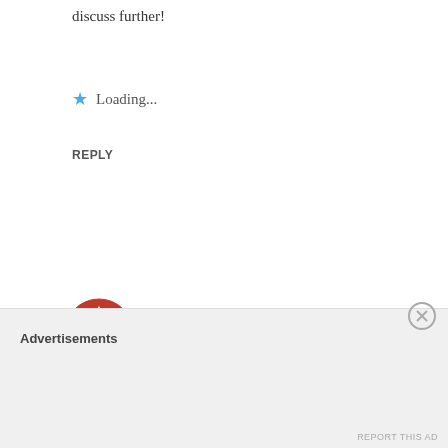discuss further!
★ Loading...
REPLY
[Figure (illustration): Red and white geometric pattern circular avatar icon]
Lisa Sostack   MAY 13, 2013 AT 8:58 AM
Hi Kelly,
I can send photos. The cabinets have a mocha glaze does moderate the yellow, but not enough perhaps. i can send photos.
Advertisements
REPORT THIS AD